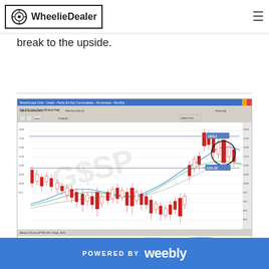WheelieDealer
evel at $1200 and the Key... 304 which we need to break to the upside.
[Figure (screenshot): ShareScope Gold candlestick chart showing monthly gold/commodity price data with moving averages, a circled candlestick pattern near the right side, and horizontal price level annotations at approximately 1313.2 and 1171.19. The chart spans from 2009/10 to 2016/0 and includes an advance/decline oscillator panel below.]
POWERED BY weebly